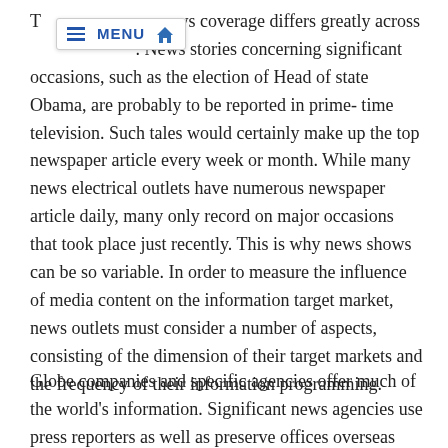The frequency of news coverage differs greatly across various outlets. News stories concerning significant occasions, such as the election of Head of state Obama, are probably to be reported in prime-time television. Such tales would certainly make up the top newspaper article every week or month. While many news electrical outlets have numerous newspaper article daily, many only record on major occasions that took place just recently. This is why news shows can be so variable. In order to measure the influence of media content on the information target market, news outlets must consider a number of aspects, consisting of the dimension of their target markets and the frequency of their information programming.
Globe companies and specific agencies offer much of the world's information. Significant news agencies use press reporters as well as preserve offices overseas